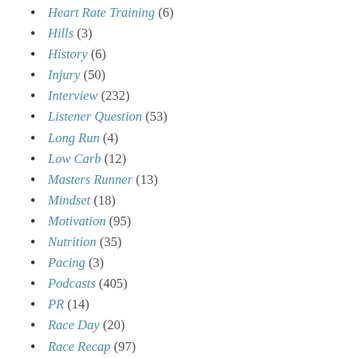Heart Rate Training (6)
Hills (3)
History (6)
Injury (50)
Interview (232)
Listener Question (53)
Long Run (4)
Low Carb (12)
Masters Runner (13)
Mindset (18)
Motivation (95)
Nutrition (35)
Pacing (3)
Podcasts (405)
PR (14)
Race Day (20)
Race Recap (97)
Review (29)
Running Form (8)
Running Physiology (6)